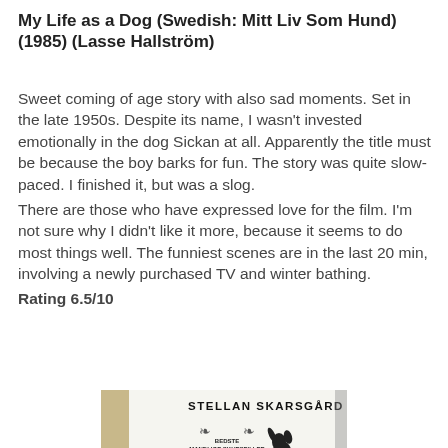My Life as a Dog (Swedish: Mitt Liv Som Hund) (1985) (Lasse Hallström)
Sweet coming of age story with also sad moments. Set in the late 1950s. Despite its name, I wasn't invested emotionally in the dog Sickan at all. Apparently the title must be because the boy barks for fun. The story was quite slow-paced. I finished it, but was a slog.
There are those who have expressed love for the film. I'm not sure why I didn't like it more, because it seems to do most things well. The funniest scenes are in the last 20 min, involving a newly purchased TV and winter bathing.
Rating 6.5/10
[Figure (photo): DVD cover for a film featuring Stellan Skarsgård, with award laurels for Bedste Mandlige Skuespiller (Berlin Film Festival 1987) and Bedste Ikke-Amerikanske Film, and a dog silhouette.]